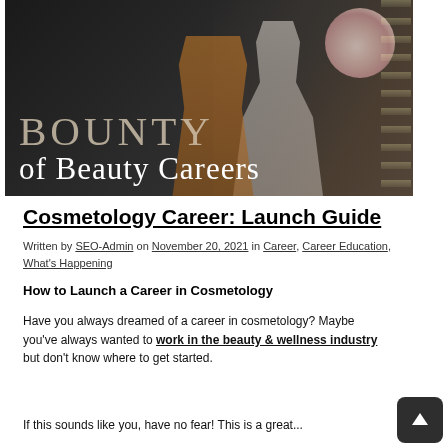[Figure (photo): Hero image showing two women in a beauty/cosmetology setting with flowers in the background. Large text overlay reads 'BOUNTY of Beauty Careers' in light serif font on dark background.]
Cosmetology Career: Launch Guide
Written by SEO-Admin on November 20, 2021 in Career, Career Education, What's Happening
How to Launch a Career in Cosmetology
Have you always dreamed of a career in cosmetology? Maybe you've always wanted to work in the beauty & wellness industry but don't know where to get started.
If this sounds like you, have no fear! This is a great...